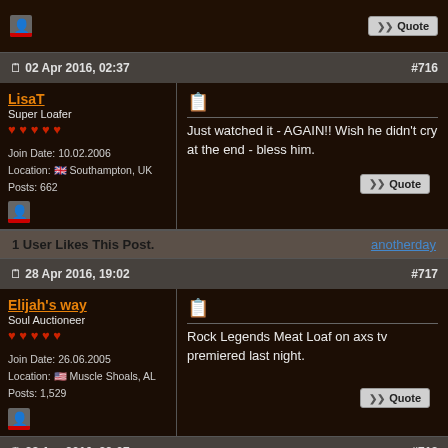[Top stub row with avatar and Quote button]
02 Apr 2016, 02:37  #716
LisaT
Super Loafer
Join Date: 10.02.2006
Location: Southampton, UK
Posts: 662
Just watched it - AGAIN!! Wish he didn't cry at the end - bless him.
1 User Likes This Post.  anotherday
28 Apr 2016, 19:02  #717
Elijah's way
Soul Auctioneer
Join Date: 26.06.2005
Location: Muscle Shoals, AL
Posts: 1,529
Rock Legends Meat Loaf on axs tv premiered last night.
28 Apr 2016, 22:07  #718
anotherday
Super Loafer